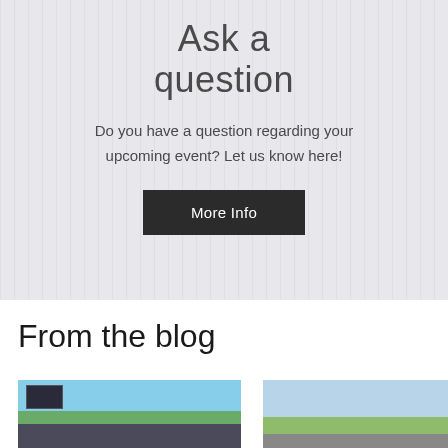Ask a question
Do you have a question regarding your upcoming event? Let us know here!
More Info
From the blog
[Figure (photo): Outdoor stadium photo with scoreboard, blue sky with clouds, trees and banners]
[Figure (photo): Outdoor athletic field photo with tall light poles, blue sky]